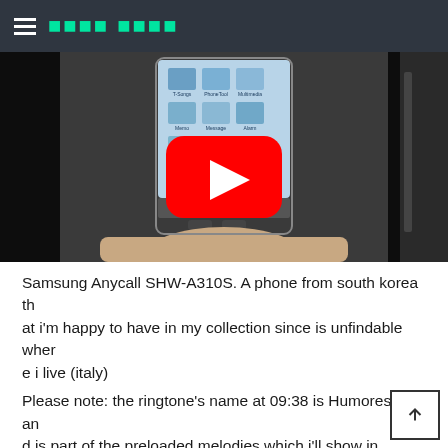≡ [site title in non-Latin script]
[Figure (screenshot): YouTube video thumbnail showing a Samsung Anycall flip phone being held open, displaying a menu screen with icons. A large red YouTube play button is overlaid in the center.]
Samsung Anycall SHW-A310S. A phone from south korea that i'm happy to have in my collection since is unfindable where i live (italy)
Please note: the ringtone's name at 09:38 is Humoresque and is part of the preloaded melodies which i'll show in another video.
I skipped the ringtones at 09:52 because aren't preloaded in